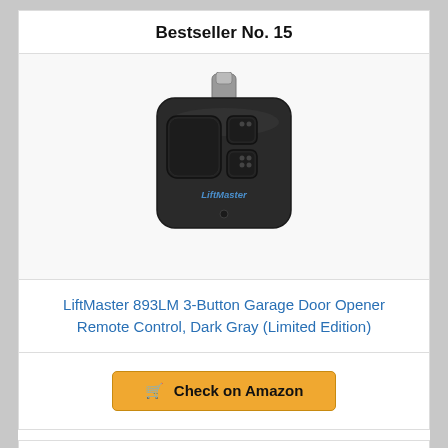Bestseller No. 15
[Figure (photo): LiftMaster 893LM 3-button garage door opener remote control in dark gray, with a metal clip on top and LiftMaster logo on front.]
LiftMaster 893LM 3-Button Garage Door Opener Remote Control, Dark Gray (Limited Edition)
Check on Amazon
Bestseller No. 16